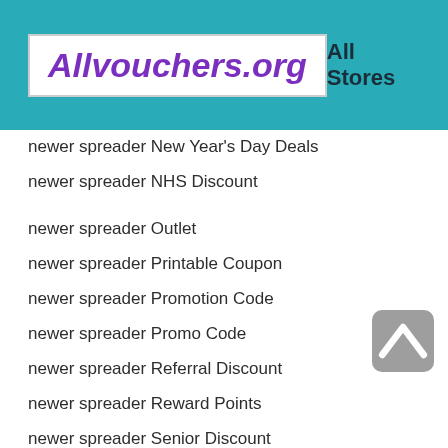Allvouchers.org | All Stores
newer spreader New Year's Day Deals
newer spreader NHS Discount
newer spreader Outlet
newer spreader Printable Coupon
newer spreader Promotion Code
newer spreader Promo Code
newer spreader Referral Discount
newer spreader Reward Points
newer spreader Senior Discount
newer spreader Spring Sales
newer spreader Student Discount
newer spreader Summer Sales